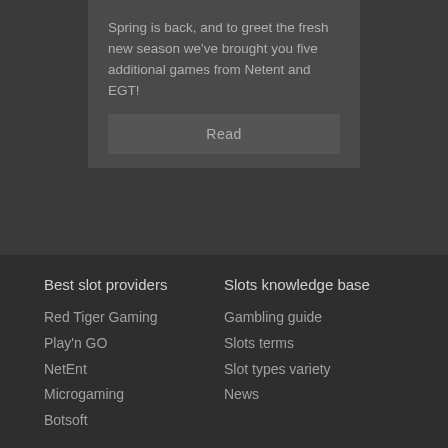Spring is back, and to greet the fresh new season we've brought you five additional games from Netent and EGT!
Read
Best slot providers
Slots knowledge base
Red Tiger Gaming
Play'n GO
NetEnt
Microgaming
Botsoft
Gambling guide
Slots terms
Slot types variety
News